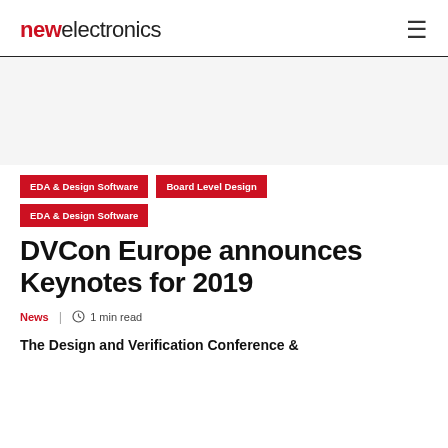newelectronics
EDA & Design Software
Board Level Design
EDA & Design Software
DVCon Europe announces Keynotes for 2019
News | 1 min read
The Design and Verification Conference &